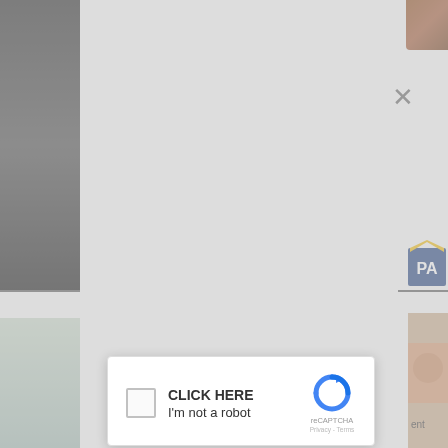[Figure (screenshot): Screenshot of a webpage with a reCAPTCHA modal overlay. The modal shows 'CLICK HERE' text, an 'I'm not a robot' checkbox, and a reCAPTCHA logo. Partially visible behind the modal are photos and text fragments from an underlying webpage.]
CLICK HERE
I'm not a robot
reCAPTCHA
Privacy - Terms